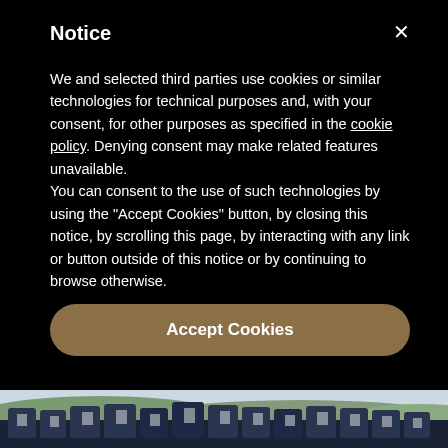Notice
We and selected third parties use cookies or similar technologies for technical purposes and, with your consent, for other purposes as specified in the cookie policy. Denying consent may make related features unavailable.
You can consent to the use of such technologies by using the “Accept Cookies” button, by closing this notice, by scrolling this page, by interacting with any link or button outside of this notice or by continuing to browse otherwise.
Accept Cookies
[Figure (photo): Group of school students in navy blazers and ties standing together outdoors with green hills and sky in the background]